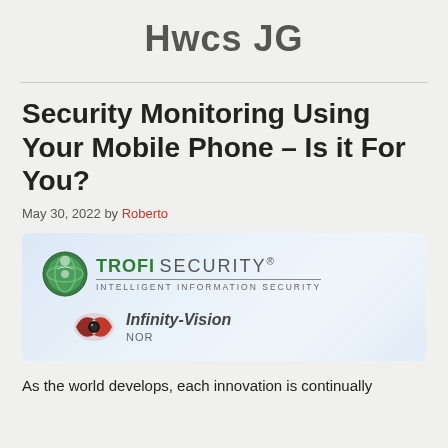Hwcs JG
Security Monitoring Using Your Mobile Phone – Is it For You?
May 30, 2022 by Roberto
[Figure (logo): TROFI SECURITY logo with green globe icon and tagline 'INTELLIGENT INFORMATION SECURITY', and Infinity-Vision NOR logo with pink/red eye icon]
As the world develops, each innovation is continually